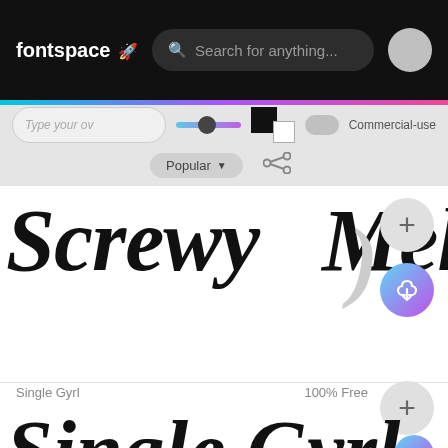fontspace — Search for anything...
[Figure (screenshot): FontSpace website header with logo, search bar, and user avatar icon on black background]
[Figure (screenshot): Controls bar with text input, slider, color swatches, commercial-use toggle, Popular sort button, and share icon]
Screwy Melted
Single Gyrl
100% Free
Single Gyrl